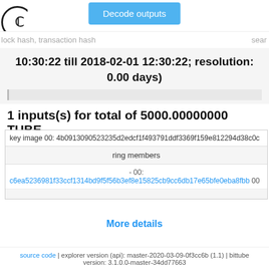Decode outputs | lock hash, transaction hash | search
10:30:22 till 2018-02-01 12:30:22; resolution: 0.00 days)
1 inputs(s) for total of 5000.00000000 TUBE
| key image 00 | ring members | - 00: | c6ea5236981f33ccf1314bd9f5f56b3ef8e15825cb9cc6db17e65bfe0eba8fbb |
| --- | --- | --- | --- |
More details
source code | explorer version (api): master-2020-03-09-0f3cc6b (1.1) | bittube version: 3.1.0.0-master-34dd77663